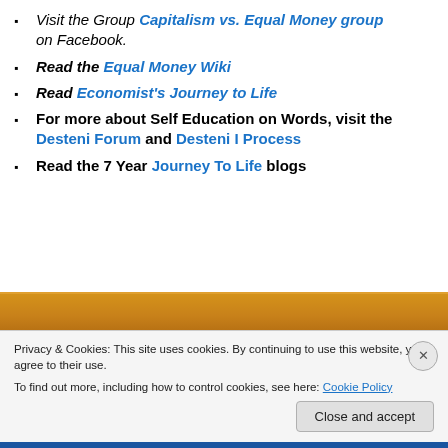Visit the Group Capitalism vs. Equal Money group on Facebook.
Read the Equal Money Wiki
Read Economist's Journey to Life
For more about Self Education on Words, visit the Desteni Forum and Desteni I Process
Read the 7 Year Journey To Life blogs
Privacy & Cookies: This site uses cookies. By continuing to use this website, you agree to their use. To find out more, including how to control cookies, see here: Cookie Policy